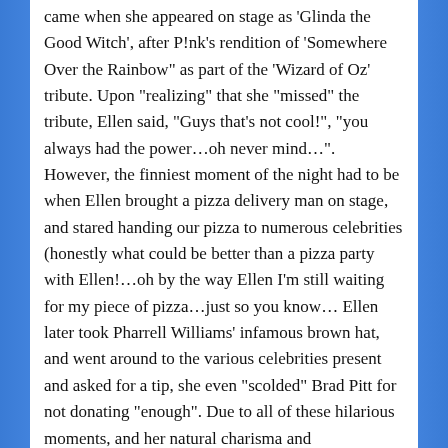came when she appeared on stage as 'Glinda the Good Witch', after P!nk's rendition of 'Somewhere Over the Rainbow" as part of the 'Wizard of Oz' tribute. Upon "realizing" that she "missed" the tribute, Ellen said, "Guys that's not cool!", "you always had the power…oh never mind…". However, the finniest moment of the night had to be when Ellen brought a pizza delivery man on stage, and stared handing our pizza to numerous celebrities (honestly what could be better than a pizza party with Ellen!…oh by the way Ellen I'm still waiting for my piece of pizza…just so you know… Ellen later took Pharrell Williams' infamous brown hat, and went around to the various celebrities present and asked for a tip, she even "scolded" Brad Pitt for not donating "enough". Due to all of these hilarious moments, and her natural charisma and lightheartedness, Ellen certainly further proved that she is truly a hilarious comedian, and a great